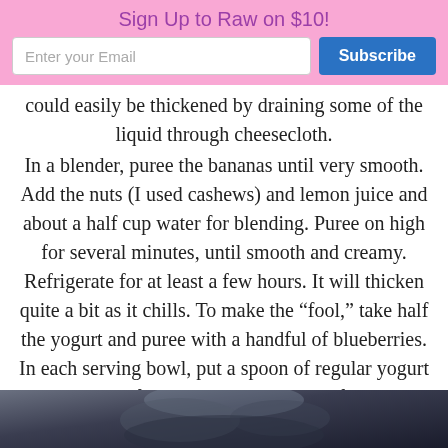Sign Up to Raw on $10!
could easily be thickened by draining some of the liquid through cheesecloth.
In a blender, puree the bananas until very smooth. Add the nuts (I used cashews) and lemon juice and about a half cup water for blending. Puree on high for several minutes, until smooth and creamy. Refrigerate for at least a few hours. It will thicken quite a bit as it chills. To make the “fool,” take half the yogurt and puree with a handful of blueberries. In each serving bowl, put a spoon of regular yogurt and another of blueberry yogurt, add a few whole blueberries to the top. Garnish with a couple chopped walnuts and a drizzle of agave, if desired.
[Figure (photo): Bottom portion of a dark-toned food photograph, partially visible at the bottom of the page.]